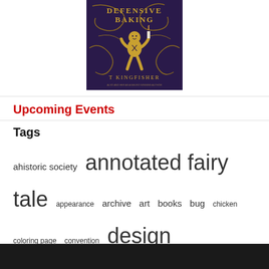[Figure (illustration): Book cover for 'Defensive Baking' by T KingFisher, showing a gingerbread man holding a candle on a dark purple background with gold decorative scrollwork]
Upcoming Events
Tags
ahistoric society  annotated fairy tale  appearance  archive  art  books  bug  chicken  coloring page  convention  design  dream  etsy  fake book  frog  journal  nature  News  orcus  poem  short story  spider  store  travel  writing